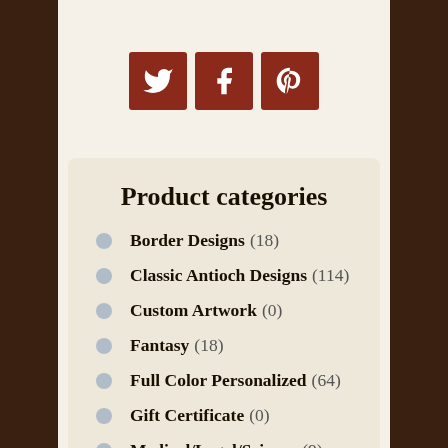[Figure (other): Social media icons: Twitter, Facebook, Pinterest — three dark red square buttons with white icons]
Product categories
Border Designs (18)
Classic Antioch Designs (114)
Custom Artwork (0)
Fantasy (18)
Full Color Personalized (64)
Gift Certificate (0)
Medical/Legal/Science (9)
Nature/Animals (66)
Nautical (12)